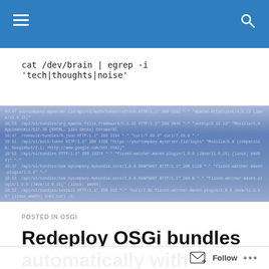Navigation bar with hamburger menu and search icon
cat /dev/brain | egrep -i 'tech|thoughts|noise'
[Figure (screenshot): Terminal/code output banner image with blue gradient background and light-colored monospace text displaying log or code output lines]
POSTED IN OSGI
Redeploy OSGi bundles automatically with fizzed-watcher-maven-plugin